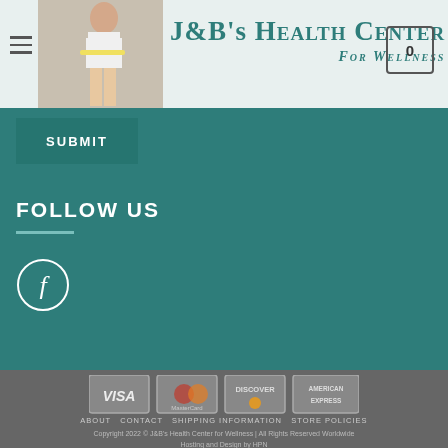J&B's Health Center For Wellness
SUBMIT
FOLLOW US
[Figure (logo): Facebook circle icon]
[Figure (infographic): Payment method icons: VISA, MasterCard, Discover, American Express]
ABOUT  CONTACT  SHIPPING INFORMATION  STORE POLICIES
Copyright 2022 © J&B's Health Center for Wellness | All Rights Reserved Worldwide
Hosting and Design by HPN